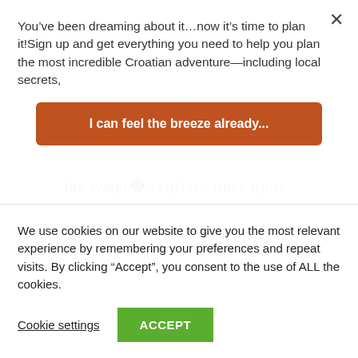You’ve been dreaming about it…now it’s time to plan it!Sign up and get everything you need to help you plan the most incredible Croatian adventure—including local secrets,
I can feel the breeze already...
the drowned monastery rose from
the water� s surface once more.
[Figure (photo): Light blue sky/water photo strip visible behind modal]
We use cookies on our website to give you the most relevant experience by remembering your preferences and repeat visits. By clicking “Accept”, you consent to the use of ALL the cookies.
Cookie settings
ACCEPT